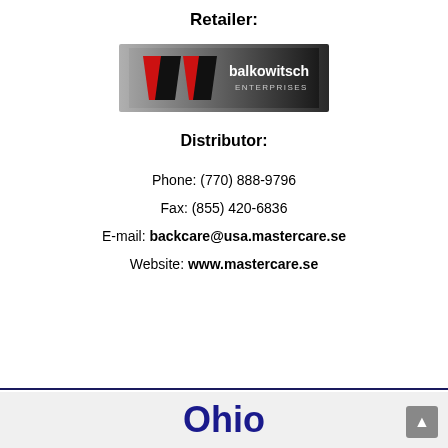Retailer:
[Figure (logo): Balkowitsch Enterprises logo: large stylized BR letters in red and black on a dark gradient background, with 'balkowitsch ENTERPRISES' text in white/grey]
Distributor:
Phone: (770)  888-9796
Fax: (855) 420-6836
E-mail: backcare@usa.mastercare.se
Website: www.mastercare.se
Ohio